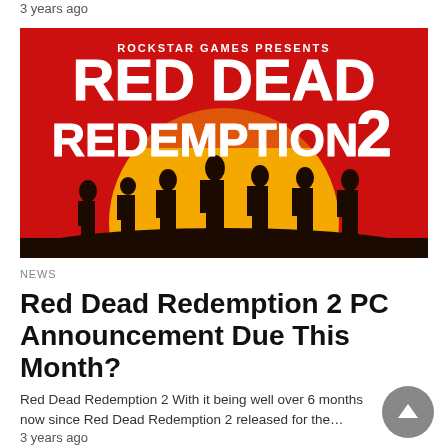3 years ago
[Figure (illustration): Red Dead Redemption 2 official promotional image by Rockstar Games. Red background with large orange sun, silhouettes of cowboys in the foreground. White bold text reads 'ROCKSTAR GAMES PRESENTS RED DEAD REDEMPTION 2'.]
NEWS
Red Dead Redemption 2 PC Announcement Due This Month?
Red Dead Redemption 2 With it being well over 6 months now since Red Dead Redemption 2 released for the…
3 years ago